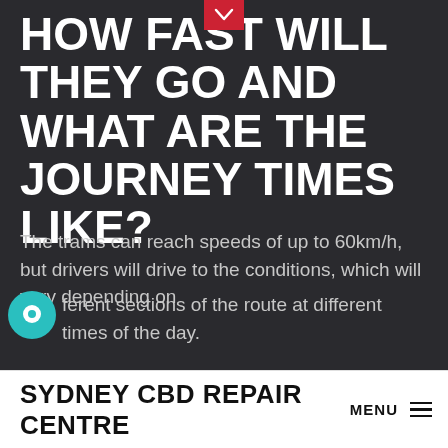HOW FAST WILL THEY GO AND WHAT ARE THE JOURNEY TIMES LIKE?
The trams can reach speeds of up to 60km/h, but drivers will drive to the conditions, which will vary depending on different sections of the route at different times of the day.
As for journey times, Transport for NSW says they're not known just yet.
“We are currently testing trams against preliminary traffic
SYDNEY CBD REPAIR CENTRE  MENU ≡